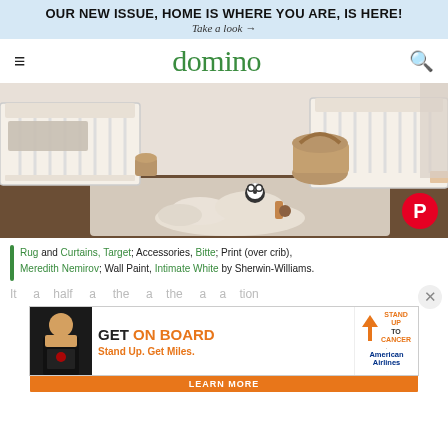OUR NEW ISSUE, HOME IS WHERE YOU ARE, IS HERE! Take a look →
domino
[Figure (photo): Nursery room with white cribs, a play mat on a beige rug, a panda stuffed animal, wooden toys, and a wicker basket. A Pinterest badge appears in the bottom right corner.]
Rug and Curtains, Target; Accessories, Bitte; Print (over crib), Meredith Nemirov; Wall Paint, Intimate White by Sherwin-Williams.
It a a half a the a the a a tion
[Figure (infographic): Advertisement: GET ON BOARD — Stand Up To Cancer × American Airlines. GET ON BOARD in orange text. Stand Up. Get Miles. tagline. LEARN MORE button.]